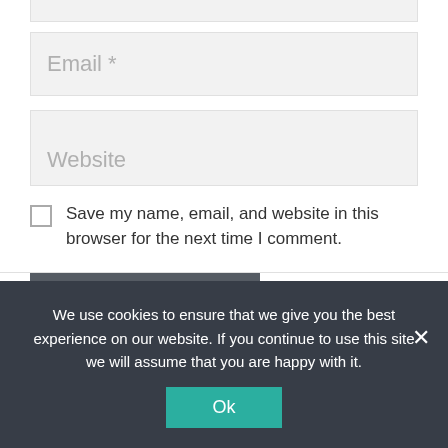[Figure (screenshot): Partial input field at top, cut off, showing top border of a form field]
Email *
Website
Save my name, email, and website in this browser for the next time I comment.
Post Comment
We use cookies to ensure that we give you the best experience on our website. If you continue to use this site we will assume that you are happy with it.
Ok